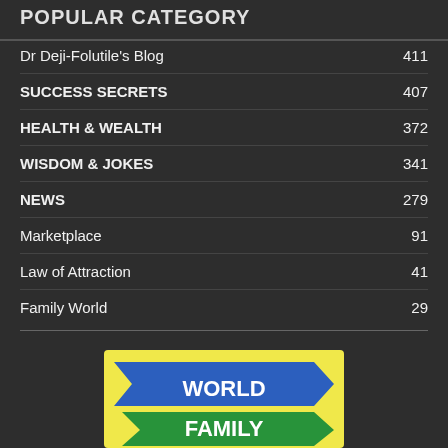POPULAR CATEGORY
Dr Deji-Folutile's Blog  411
SUCCESS SECRETS  407
HEALTH & WEALTH  372
WISDOM & JOKES  341
NEWS  279
Marketplace  91
Law of Attraction  41
Family World  29
[Figure (logo): World Family logo with blue arrow banner saying WORLD and green arrow banner saying FAMILY on a yellow background]